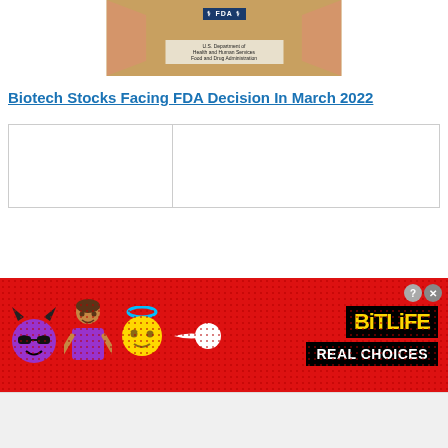[Figure (photo): FDA logo image showing U.S. Department of Health and Human Services Food and Drug Administration sign, with hands on either side]
Biotech Stocks Facing FDA Decision In March 2022
|  |
[Figure (screenshot): BitLife advertisement banner with devil emoji, person emoji, angel emoji, sperm icon, BitLife logo in yellow on black, and REAL CHOICES text on black background, all on red dotted background]
[Figure (screenshot): Gray/white bottom strip area]